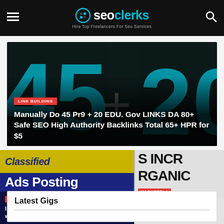seoclerks — Hire Top Freelancers For Seo Services
[Figure (screenshot): Dark banner with large teal numbers 45 and 20 with a plus sign, LINK BUILDING red badge, title text about backlinks]
Manually Do 45 Pr9 + 20 EDU. Gov LINKS DA 80+ Safe SEO High Authority Backlinks Total 65+ HPR for $5
[Figure (screenshot): Blue card with yellow classified header and Ads Posting text, ART & DESIGN badge]
I will Provide 70 Sites ads Posting for rank site website optimization for $10
[Figure (screenshot): Partial card showing INCR and ORGANIC MARKETPLA text with TIPS TO GROW germany u text]
Lets increa... germany u...
Latest Gigs